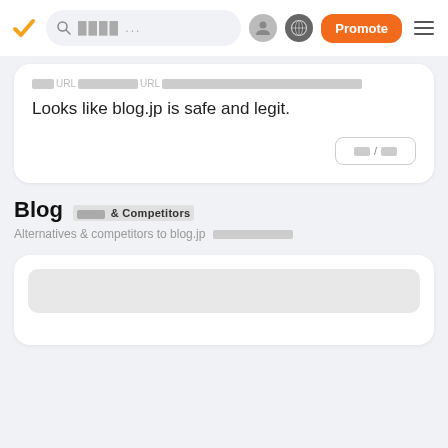Navigation bar with logo, search, profile icon, globe icon, Promote button, hamburger menu
███URL████████████URL████████████████████████████████████████████████
Looks like blog.jp is safe and legit.
██/██
Blog ████ & Competitors
Alternatives & competitors to blog.jp ███████████